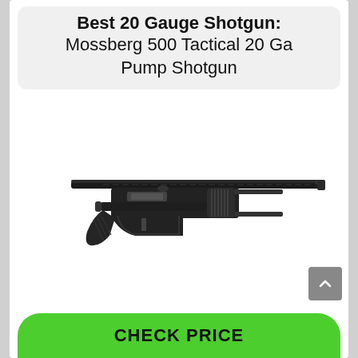Best 20 Gauge Shotgun: Mossberg 500 Tactical 20 Ga Pump Shotgun
[Figure (photo): Side profile photo of a Mossberg 500 Tactical 20 Ga Pump Shotgun — black pump-action shotgun with pistol grip and long barrel]
CHECK PRICE